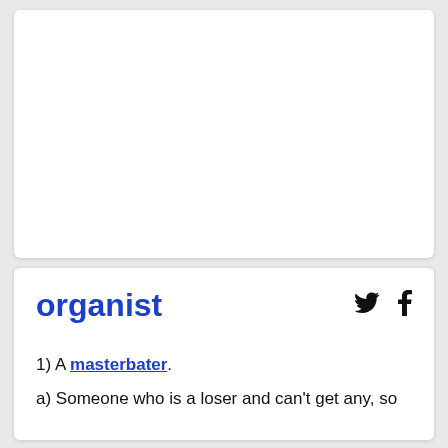[Figure (other): Advertisement card area, blank white rectangle]
organist
1) A masterbater.
a) Someone who is a loser and can't get any, so